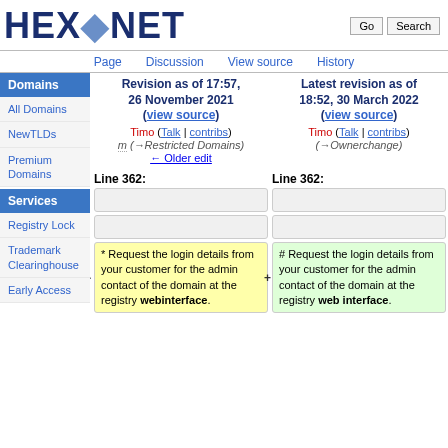HEXONET
Page  Discussion  View source  History
Domains
All Domains
NewTLDs
Premium Domains
Services
Registry Lock
Trademark Clearinghouse
Early Access
Revision as of 17:57, 26 November 2021 (view source)
Timo (Talk | contribs)
m (→Restricted Domains)
← Older edit
Latest revision as of 18:52, 30 March 2022 (view source)
Timo (Talk | contribs)
(→Ownerchange)
Line 362:
Line 362:
* Request the login details from your customer for the admin contact of the domain at the registry webinterface.
# Request the login details from your customer for the admin contact of the domain at the registry web interface.